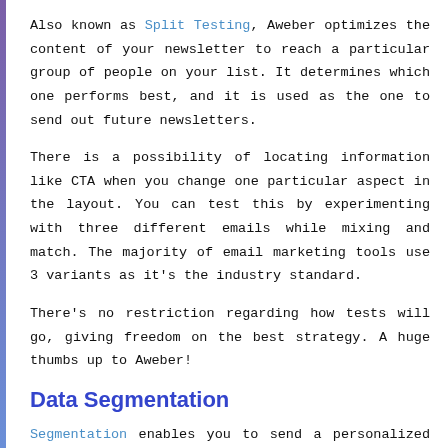Also known as Split Testing, Aweber optimizes the content of your newsletter to reach a particular group of people on your list. It determines which one performs best, and it is used as the one to send out future newsletters.
There is a possibility of locating information like CTA when you change one particular aspect in the layout. You can test this by experimenting with three different emails while mixing and match. The majority of email marketing tools use 3 variants as it's the industry standard.
There's no restriction regarding how tests will go, giving freedom on the best strategy. A huge thumbs up to Aweber!
Data Segmentation
Segmentation enables you to send a personalized and personal email to your intended audience. Aweber creates segments on